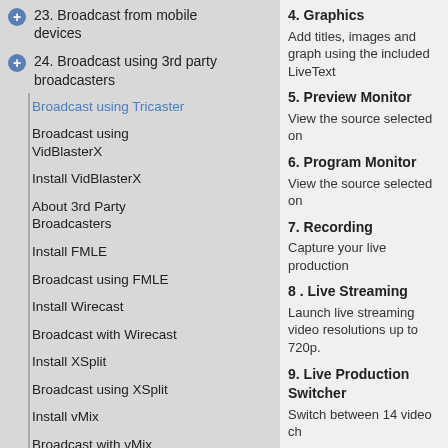23. Broadcast from mobile devices
24. Broadcast using 3rd party broadcasters
Broadcast using Tricaster
Broadcast using VidBlasterX
Install VidBlasterX
About 3rd Party Broadcasters
Install FMLE
Broadcast using FMLE
Install Wirecast
Broadcast with Wirecast
Install XSplit
Broadcast using XSplit
Install vMix
Broadcast with vMix
4. Graphics
Add titles, images and graph using the included LiveText
5. Preview Monitor
View the source selected on
6. Program Monitor
View the source selected on
7. Recording
Capture your live production
8 . Live Streaming
Launch live streaming video resolutions up to 720p.
9. Live Production Switcher
Switch between 14 video ch